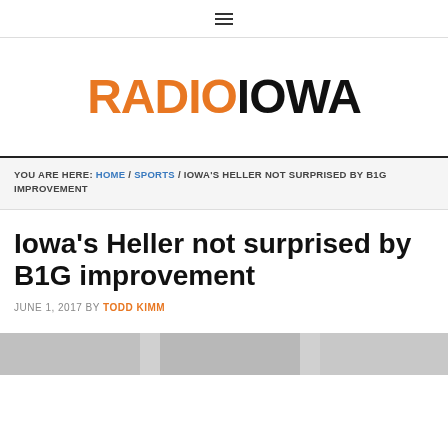≡ (hamburger menu icon)
[Figure (logo): Radio Iowa logo with RADIO in orange and IOWA in black bold text]
YOU ARE HERE: HOME / SPORTS / IOWA'S HELLER NOT SURPRISED BY B1G IMPROVEMENT
Iowa's Heller not surprised by B1G improvement
JUNE 1, 2017 BY TODD KIMM
[Figure (photo): Partial image at bottom of page, cropped]